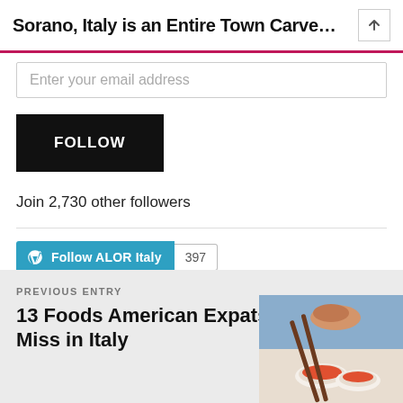Sorano, Italy is an Entire Town Carve...
Enter your email address
FOLLOW
Join 2,730 other followers
Follow ALOR Italy  397
PREVIOUS ENTRY
13 Foods American Expats Miss in Italy